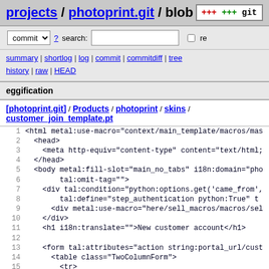projects / photoprint.git / blob
commit ? search: re
summary | shortlog | log | commit | commitdiff | tree history | raw | HEAD
eggification
[photoprint.git] / Products / photoprint / skins / customer_join_template.pt
1  <html metal:use-macro="context/main_template/macros/mas
2    <head>
3      <meta http-equiv="content-type" content="text/html;
4    </head>
5    <body metal:fill-slot="main_no_tabs" i18n:domain="pho
6            tal:omit-tag="">
7      <div tal:condition="python:options.get('came_from',
8              tal:define="step_authentication python:True" t
9        <div metal:use-macro="here/sell_macros/macros/sel
10   </div>
11   <h1 i18n:translate="">New customer account</h1>
12
13   <form tal:attributes="action string:portal_url/cust
14     <table class="TwoColumnForm">
15       <tr>
16         <td colspan="2" style="text-align:center">
17           <h3 i18n:translate="">Customer informations
18           </td>